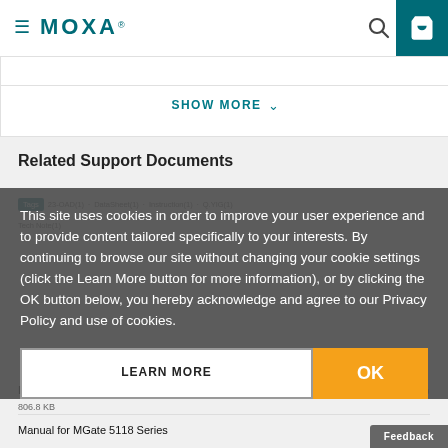MOXA
SHOW MORE
Related Support Documents
This site uses cookies in order to improve your user experience and to provide content tailored specifically to your interests. By continuing to browse our site without changing your cookie settings (click the Learn More button for more information), or by clicking the OK button below, you hereby acknowledge and agree to our Privacy Policy and use of cookies.
Datasheet for MGate 5118 Series
806.8 KB
Manual for MGate 5118 Series
Feedback